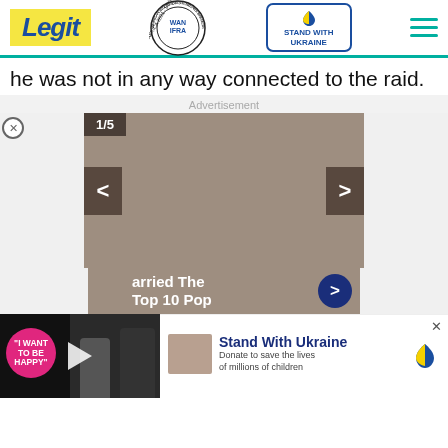Legit — WAN-IFRA Best News Website in Africa 2021 — Stand With Ukraine
he was not in any way connected to the raid.
Advertisement
[Figure (other): Slideshow carousel showing slide 1/5, with left and right navigation arrows, on a taupe/brown background. Below shows partial teaser text 'arried The Top 10 Pop' with a dark blue arrow button.]
[Figure (photo): Video player overlay showing a pink speech bubble with text 'I WANT TO BE HAPPY', a play button, and two people (a young woman and a man in a suit) in the background.]
[Figure (other): Stand With Ukraine donation banner with text 'Stand With Ukraine — Donate to save the lives of millions of children' and a Ukrainian flag heart icon.]